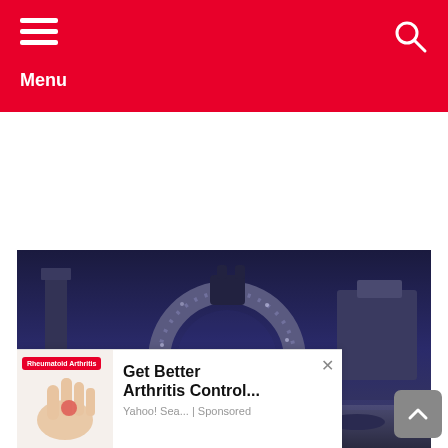Menu
[Figure (photo): Underwater or dimly lit fantasy scene with stone architectural structures, a large circular stone ring/arch with sparkly texture, pillars, and a dark blue atmospheric background.]
Get Better Arthritis Control...
Yahoo! Sea... | Sponsored